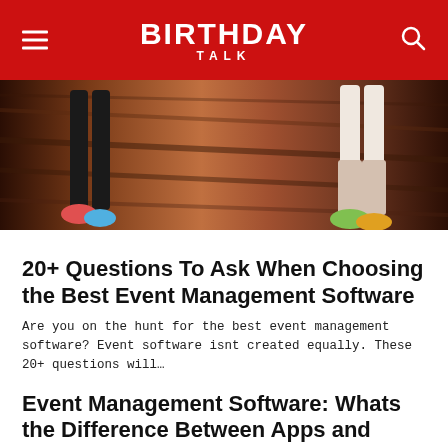BIRTHDAY TALK
[Figure (photo): Cropped photo showing lower legs and feet of two people standing on a dark hardwood floor. One person wears black leggings with colorful sneakers. The other wears shorts with colorful sneakers.]
20+ Questions To Ask When Choosing the Best Event Management Software
Are you on the hunt for the best event management software? Event software isnt created equally. These 20+ questions will…
Event Management Software: Whats the Difference Between Apps and Integrations?
Event software plays a critical role in the management of your event and the ultimate impact of your strategy. But…